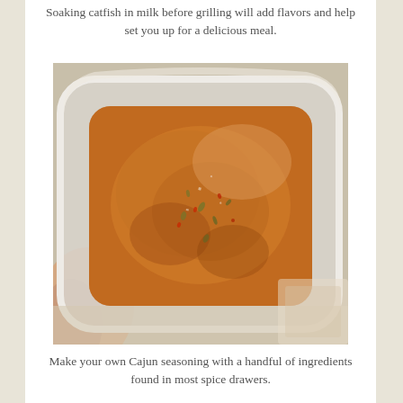Soaking catfish in milk before grilling will add flavors and help set you up for a delicious meal.
[Figure (photo): A clear plastic container held from below by a hand, filled with Cajun spice blend — a reddish-brown mixture of ground spices with visible herb flakes and chili pieces.]
Make your own Cajun seasoning with a handful of ingredients found in most spice drawers.